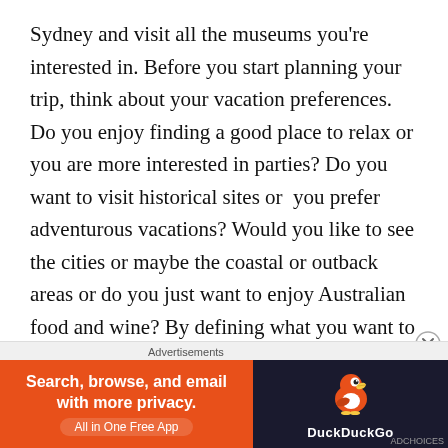Sydney and visit all the museums you're interested in. Before you start planning your trip, think about your vacation preferences. Do you enjoy finding a good place to relax or you are more interested in parties? Do you want to visit historical sites or  you prefer adventurous vacations? Would you like to see the cities or maybe the coastal or outback areas or do you just want to enjoy Australian food and wine? By defining what you want to see, it'll be easier to plan your trip. And make the most of your Australian trip by doing the things you enjoy.
Types of travel
[Figure (screenshot): DuckDuckGo advertisement banner: orange section with text 'Search, browse, and email with more privacy. All in One Free App' and dark section with DuckDuckGo duck logo and brand name.]